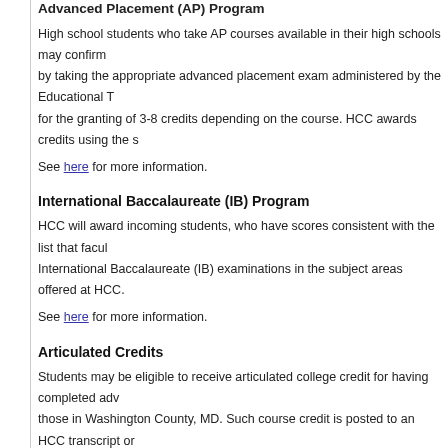Advanced Placement (AP) Program
High school students who take AP courses available in their high schools may confirm by taking the appropriate advanced placement exam administered by the Educational T for the granting of 3-8 credits depending on the course. HCC awards credits using the s
See here for more information.
International Baccalaureate (IB) Program
HCC will award incoming students, who have scores consistent with the list that facul International Baccalaureate (IB) examinations in the subject areas offered at HCC.
See here for more information.
Articulated Credits
Students may be eligible to receive articulated college credit for having completed adv those in Washington County, MD. Such course credit is posted to an HCC transcript or the grade specified in the articulation agreement. No articulated credit can be awarded